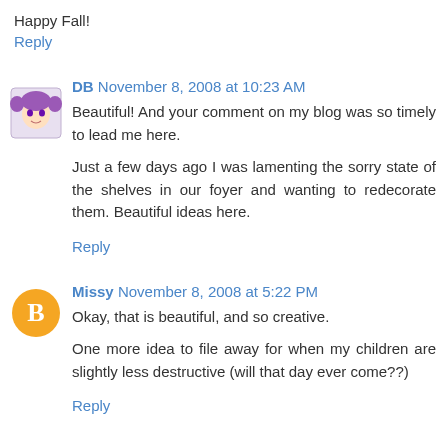Happy Fall!
Reply
DB November 8, 2008 at 10:23 AM
Beautiful! And your comment on my blog was so timely to lead me here.
Just a few days ago I was lamenting the sorry state of the shelves in our foyer and wanting to redecorate them. Beautiful ideas here.
Reply
Missy November 8, 2008 at 5:22 PM
Okay, that is beautiful, and so creative.
One more idea to file away for when my children are slightly less destructive (will that day ever come??)
Reply